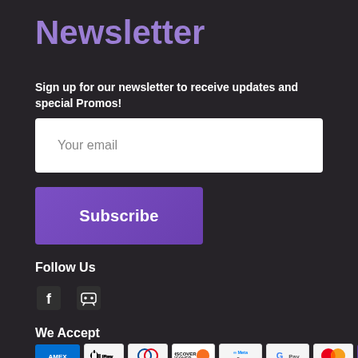Newsletter
Sign up for our newsletter to receive updates and special Promos!
[Figure (other): Email input field with placeholder text 'Your email']
[Figure (other): Subscribe button]
Follow Us
[Figure (other): Social media icons: Facebook and Discord]
We Accept
[Figure (other): Payment method icons: AMEX, Apple Pay, Diners Club, Discover, Meta Pay, Google Pay, Mastercard, OPay, VISA]